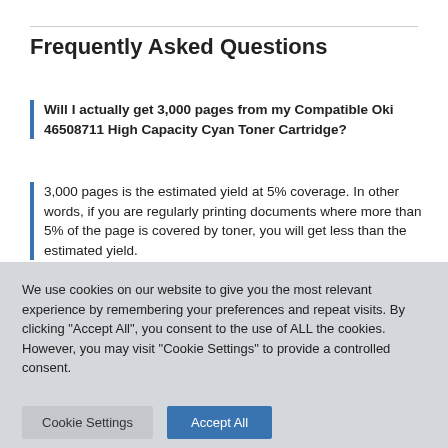Frequently Asked Questions
Will I actually get 3,000 pages from my Compatible Oki 46508711 High Capacity Cyan Toner Cartridge?
3,000 pages is the estimated yield at 5% coverage. In other words, if you are regularly printing documents where more than 5% of the page is covered by toner, you will get less than the estimated yield.
We use cookies on our website to give you the most relevant experience by remembering your preferences and repeat visits. By clicking "Accept All", you consent to the use of ALL the cookies. However, you may visit "Cookie Settings" to provide a controlled consent.